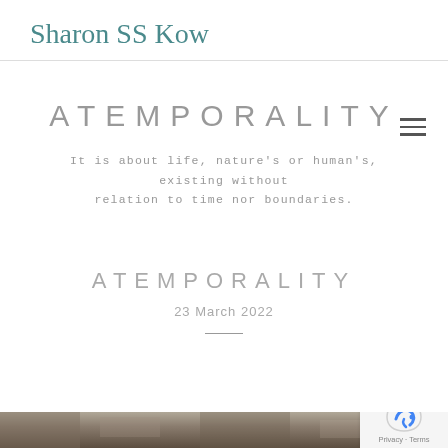Sharon SS Kow
ATEMPORALITY
It is about life, nature's or human's, existing without relation to time nor boundaries.
ATEMPORALITY
23 March 2022
[Figure (photo): A grayscale photo strip at the bottom of the page, showing a textured rocky or natural landscape.]